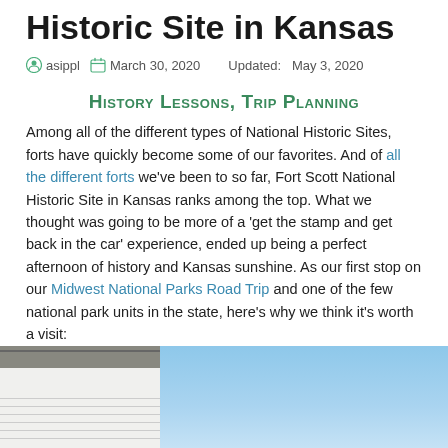Historic Site in Kansas
asippl   March 30, 2020   Updated:   May 3, 2020
History Lessons, Trip Planning
Among all of the different types of National Historic Sites, forts have quickly become some of our favorites. And of all the different forts we've been to so far, Fort Scott National Historic Site in Kansas ranks among the top. What we thought was going to be more of a 'get the stamp and get back in the car' experience, ended up being a perfect afternoon of history and Kansas sunshine. As our first stop on our Midwest National Parks Road Trip and one of the few national park units in the state, here's why we think it's worth a visit:
[Figure (photo): Photo of a white building with horizontal siding and a grey roof against a blue sky, cropped at the bottom of the page.]